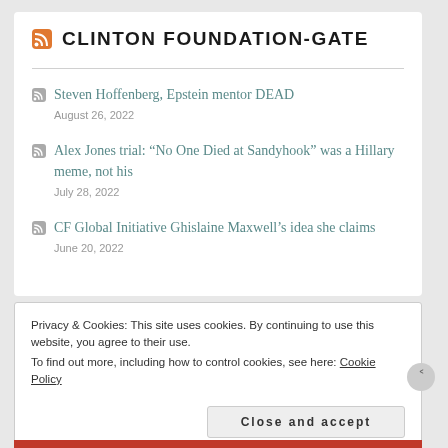CLINTON FOUNDATION-GATE
Steven Hoffenberg, Epstein mentor DEAD
August 26, 2022
Alex Jones trial: "No One Died at Sandyhook" was a Hillary meme, not his
July 28, 2022
CF Global Initiative Ghislaine Maxwell's idea she claims
June 20, 2022
Privacy & Cookies: This site uses cookies. By continuing to use this website, you agree to their use.
To find out more, including how to control cookies, see here: Cookie Policy
Close and accept